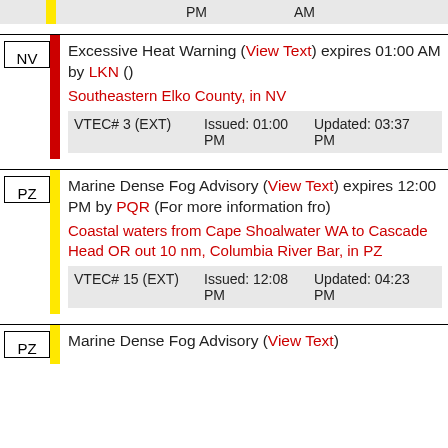|  | Issued | Updated |
| --- | --- | --- |
|  | PM | AM |
NV | Excessive Heat Warning (View Text) expires 01:00 AM by LKN () Southeastern Elko County, in NV VTEC# 3 (EXT) Issued: 01:00 PM Updated: 03:37 PM
PZ | Marine Dense Fog Advisory (View Text) expires 12:00 PM by PQR (For more information fro) Coastal waters from Cape Shoalwater WA to Cascade Head OR out 10 nm, Columbia River Bar, in PZ VTEC# 15 (EXT) Issued: 12:08 PM Updated: 04:23 PM
PZ | Marine Dense Fog Advisory (View Text)